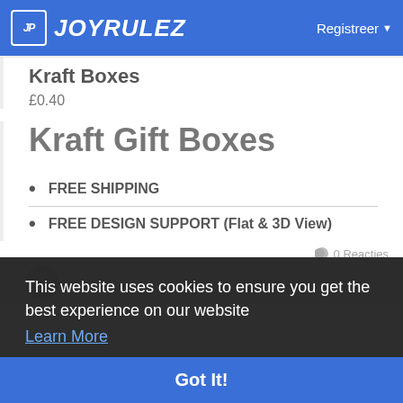JOYRULEZ  Registreer
Kraft Boxes
£0.40
Kraft Gift Boxes
FREE SHIPPING
FREE DESIGN SUPPORT (Flat & 3D View)
0 Reacties
This website uses cookies to ensure you get the best experience on our website
Learn More
Got It!